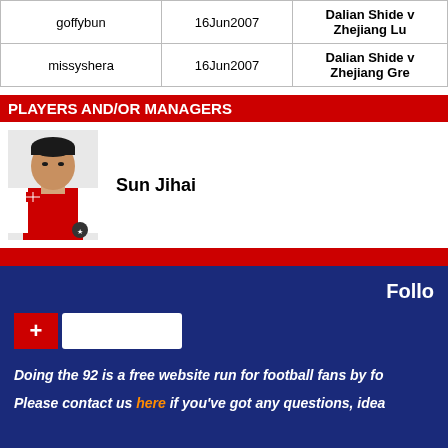|  |  |  |
| --- | --- | --- |
| goffybun | 16Jun2007 | Dalian Shide v Zhejiang Lu |
| missyshera | 16Jun2007 | Dalian Shide v Zhejiang Gre |
PLAYERS AND/OR MANAGERS
[Figure (photo): Photo of Sun Jihai, a footballer in red and white kit]
Sun Jihai
Follo
Doing the 92 is a free website run for football fans by fo
Please contact us here if you've got any questions, idea